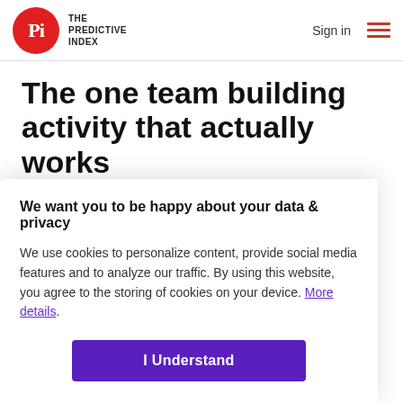THE PREDICTIVE INDEX — Sign in
The one team building activity that actually works
5 min read
Team building is important for building the
We want you to be happy about your data & privacy
We use cookies to personalize content, provide social media features and to analyze our traffic. By using this website, you agree to the storing of cookies on your device. More details.
I Understand